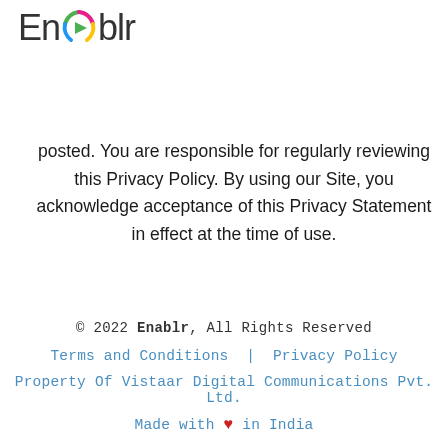[Figure (logo): Enablr logo with colorful play button icon replacing the 'a' character]
posted. You are responsible for regularly reviewing this Privacy Policy. By using our Site, you acknowledge acceptance of this Privacy Statement in effect at the time of use.
© 2022 Enablr, All Rights Reserved
Terms and Conditions | Privacy Policy
Property Of Vistaar Digital Communications Pvt. Ltd.
Made with ❤ in India